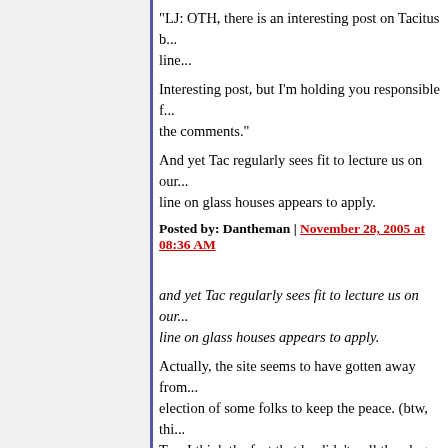"LJ: OTH, there is an interesting post on Tacitus b... line...
Interesting post, but I'm holding you responsible f... the comments."
And yet Tac regularly sees fit to lecture us on our... line on glass houses appears to apply.
Posted by: Dantheman | November 28, 2005 at 08:36 AM
and yet Tac regularly sees fit to lecture us on our... line on glass houses appears to apply.
Actually, the site seems to have gotten away from... election of some folks to keep the peace. (btw, thi... Tac, I think the fact that he didn't pull the plug on i... with a diverse membership can be said to 'move')
Posted by: liberal japonicus | November 28, 2005 at 09:17 A...
Rlikefan... re: Brad's cut-and-paste job. This is an... way Brad supplies">http://republicofheaven.blogs... or-annexation-case-of-brad.html">supplies regula...